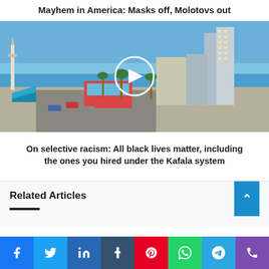Mayhem in America: Masks off, Molotovs out
[Figure (photo): Aerial/elevated view of a coastal city street with blue sea in background, buildings, palm trees, and cars. Play button overlay in center.]
On selective racism: All black lives matter, including the ones you hired under the Kafala system
Related Articles
[Figure (other): Social media share buttons bar: Facebook, Twitter, LinkedIn, Tumblr, Pinterest, WhatsApp, Telegram, Phone]